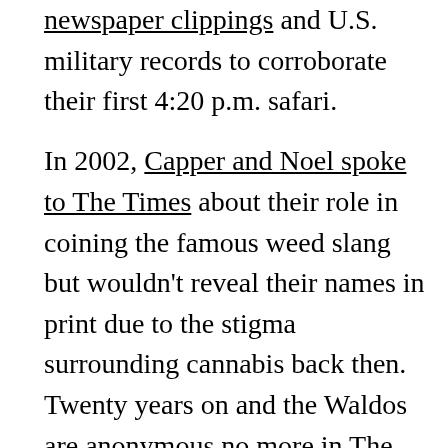newspaper clippings and U.S. military records to corroborate their first 4:20 p.m. safari.

In 2002, Capper and Noel spoke to The Times about their role in coining the famous weed slang but wouldn't reveal their names in print due to the stigma surrounding cannabis back then. Twenty years on and the Waldos are anonymous no more in The Times as cannabis legalization sweeps the country on a state level (it's still illegal federally). Capper and Reddix, who have been open about discussing 420 in recent years, spoke by phone to explain what it was like to see the term take on a life of